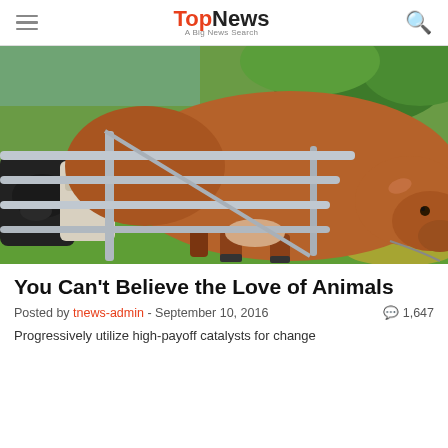TopNews — A Big News Search
[Figure (photo): A brown cow climbing over or through a metal gate/fence with other cattle and green grass in the background]
You Can't Believe the Love of Animals
Posted by tnews-admin - September 10, 2016   1,647
Progressively utilize high-payoff catalysts for change